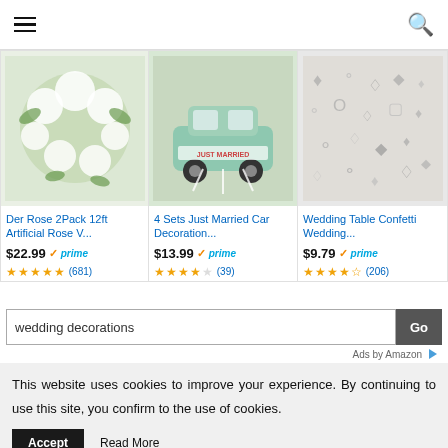[Figure (screenshot): Navigation bar with hamburger menu icon on left and search icon on right]
[Figure (photo): Artificial rose vine garland with white roses and green leaves]
Der Rose 2Pack 12ft Artificial Rose V...
$22.99 ✓prime
★★★★★ (681)
[Figure (photo): Car decorated with Just Married banner bunting and ribbons]
4 Sets Just Married Car Decoration...
$13.99 ✓prime
★★★★☆ (39)
[Figure (photo): Wedding table confetti with diamond and ring shapes]
Wedding Table Confetti Wedding...
$9.79 ✓prime
★★★★★ (206)
wedding decorations  Go
Ads by Amazon
This website uses cookies to improve your experience. By continuing to use this site, you confirm to the use of cookies.
Accept   Read More